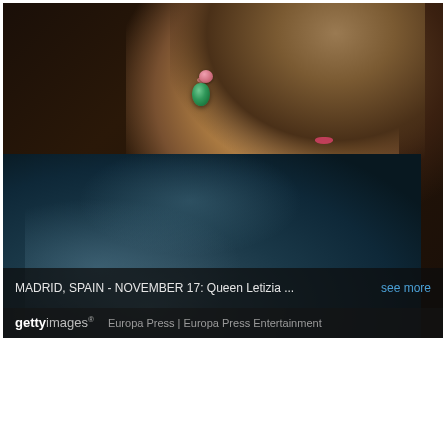[Figure (photo): Close-up profile photo of Queen Letizia of Spain, showing her face in partial profile view, wearing a green and pink gemstone earring, with pink lipstick, and a dark teal textured jacket. Dark background.]
MADRID, SPAIN - NOVEMBER 17: Queen Letizia ... see more
gettyimages · Europa Press | Europa Press Entertainment